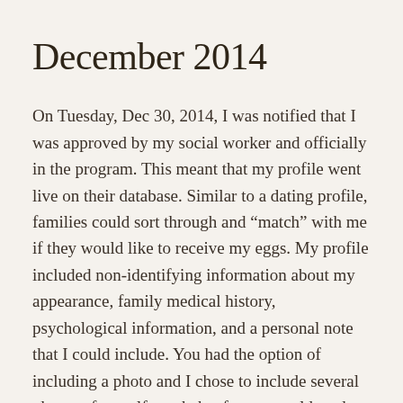December 2014
On Tuesday, Dec 30, 2014, I was notified that I was approved by my social worker and officially in the program. This meant that my profile went live on their database. Similar to a dating profile, families could sort through and “match” with me if they would like to receive my eggs. My profile included non-identifying information about my appearance, family medical history, psychological information, and a personal note that I could include. You had the option of including a photo and I chose to include several photos of myself as a baby, four-year-old, and adult.